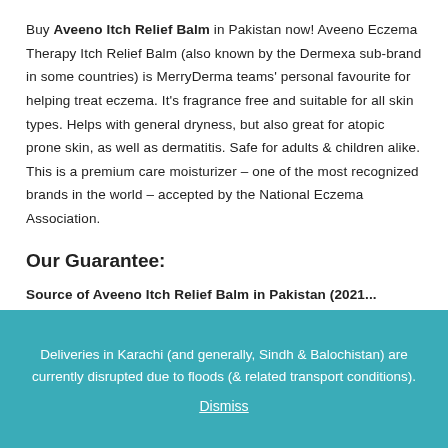Buy Aveeno Itch Relief Balm in Pakistan now! Aveeno Eczema Therapy Itch Relief Balm (also known by the Dermexa sub-brand in some countries) is MerryDerma teams' personal favourite for helping treat eczema. It's fragrance free and suitable for all skin types. Helps with general dryness, but also great for atopic prone skin, as well as dermatitis. Safe for adults & children alike. This is a premium care moisturizer – one of the most recognized brands in the world – accepted by the National Eczema Association.
Our Guarantee:
Source of Aveeno Itch Relief Balm in Pakistan (2021...
Deliveries in Karachi (and generally, Sindh & Balochistan) are currently disrupted due to floods (& related transport conditions).
Dismiss